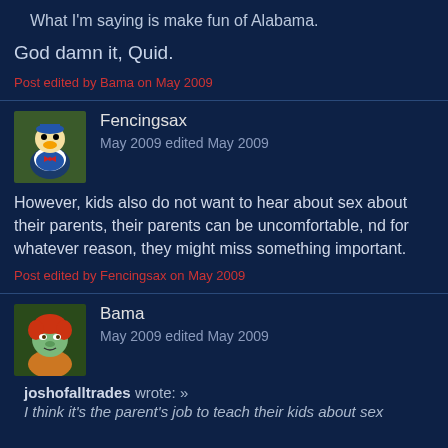What I'm saying is make fun of Alabama.
God damn it, Quid.
Post edited by Bama on May 2009
Fencingsax
May 2009 edited May 2009
However, kids also do not want to hear about sex about their parents, their parents can be uncomfortable, nd for whatever reason, they might miss something important.
Post edited by Fencingsax on May 2009
Bama
May 2009 edited May 2009
joshofalltrades wrote: » I think it's the parent's job to teach their kids about sex